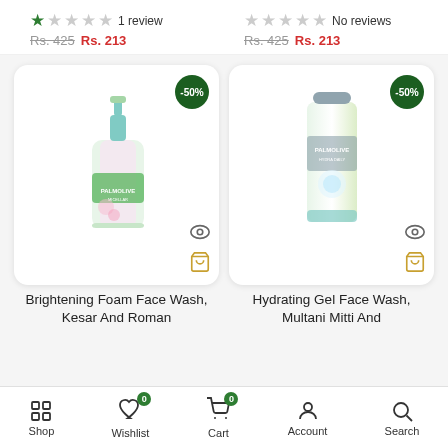[Figure (screenshot): E-commerce product listing page showing two Palmolive face wash products with ratings, prices, product images, and a bottom navigation bar]
★☆☆☆☆ 1 review
Rs. 425 Rs. 213
☆☆☆☆☆ No reviews
Rs. 425 Rs. 213
[Figure (photo): Palmolive Brightening Foam Face Wash product bottle with -50% badge]
[Figure (photo): Palmolive Hydrating Gel Face Wash tube with -50% badge]
Brightening Foam Face Wash, Kesar And Roman
Hydrating Gel Face Wash, Multani Mitti And
Shop  Wishlist 0  Cart 0  Account  Search